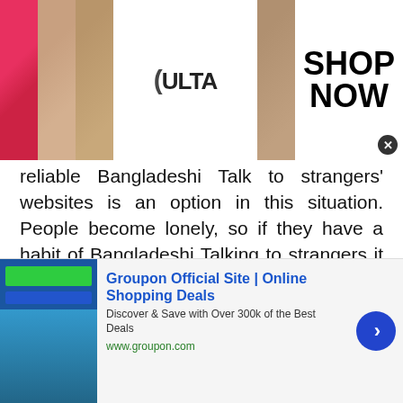[Figure (photo): Top banner advertisement for ULTA Beauty showing makeup images (lips, brush, eyes), ULTA logo, and SHOP NOW text with close button]
reliable Bangladeshi Talk to strangers' websites is an option in this situation. People become lonely, so if they have a habit of Bangladeshi Talking to strangers it would be easy to pass the time in quarantine and chat in a lonely chat room dedicated to lonely people. In this lockdown when we are away from our friends these Bangladeshi Talk with strangers websites give us a chance to find new friends and connect with them through the internet safely. Having more positive social relations is a key ingredient for happiness. So in this sense, these Bangladeshi Talk to strangers websites are spreading social contacts and
[Figure (screenshot): Bottom banner advertisement for Groupon Official Site showing logo thumbnail, title 'Groupon Official Site | Online Shopping Deals', description 'Discover & Save with Over 300k of the Best Deals', URL www.groupon.com, and a blue arrow circle button]